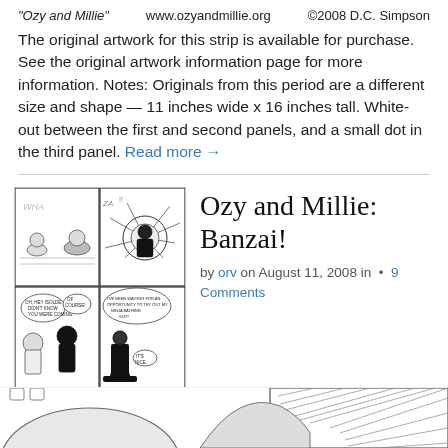"Ozy and Millie"   www.ozyandmillie.org   ©2008 D.C. Simpson
The original artwork for this strip is available for purchase.  See the original artwork information page for more information. Notes: Originals from this period are a different size and shape — 11 inches wide x 16 inches tall. White-out between the first and second panels, and a small dot in the third panel. Read more →
[Figure (illustration): Comic strip thumbnail showing Ozy and Millie characters in a pool/bathing scene across four panels]
Ozy and Millie: Banzai!
by orv on August 11, 2008 in • 9 Comments
[Figure (illustration): Bottom portion of another comic strip panel showing characters and speed lines]